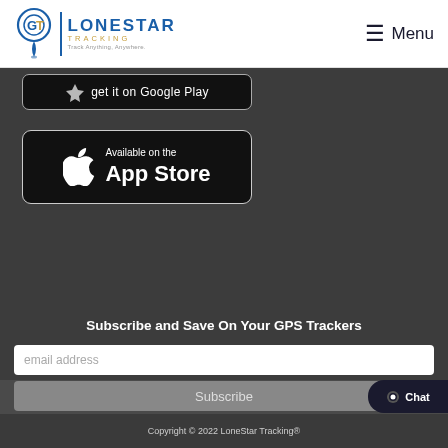[Figure (logo): LoneStar Tracking logo with circular GPS pin icon, brand name LONESTAR TRACKING in blue, tagline Track Anything, Anywhere.]
Menu
[Figure (screenshot): Partially visible dark app store download button (Google Play or similar), cropped at top]
[Figure (screenshot): Available on the App Store button - black rounded rectangle with Apple logo and text 'Available on the App Store']
Subscribe and Save On Your GPS Trackers
email address
Subscribe
Chat
Copyright © 2022 LoneStar Tracking®